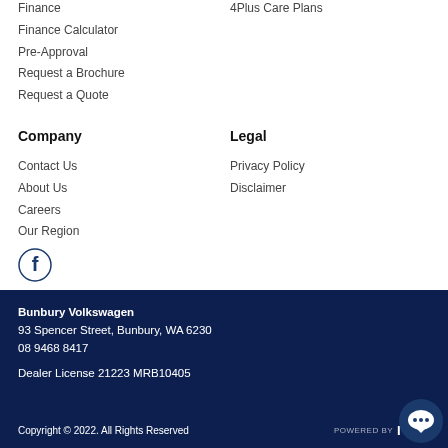Finance
Finance Calculator
Pre-Approval
Request a Brochure
Request a Quote
4Plus Care Plans
Company
Legal
Contact Us
About Us
Careers
Our Region
[Figure (logo): Facebook icon - circle with F logo]
Privacy Policy
Disclaimer
Bunbury Volkswagen
93 Spencer Street, Bunbury, WA 6230
08 9468 8417
Dealer License 21223 MRB10405
Copyright © 2022. All Rights Reserved
[Figure (logo): POWERED BY I-MO logo in white]
[Figure (illustration): Chat bubble icon circle]